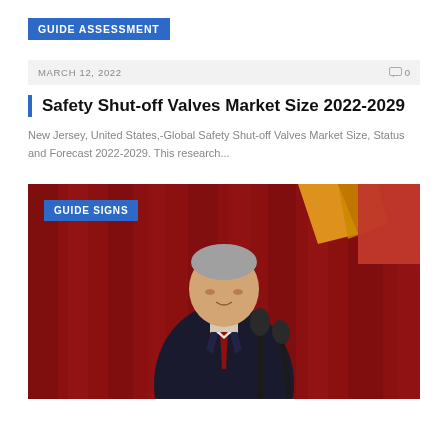GUIDE ASSESSMENT
MARCH 12, 2022   0
Safety Shut-off Valves Market Size 2022-2029
New Jersey, United States,-Global Safety Shut-off Valves Market Size, Status and Forecast 2022-2029. This research...
GUIDE SIGNS
[Figure (photo): A man in a dark suit speaking at a podium with microphones in front of a red curtain background with a yellow and red design visible behind him.]